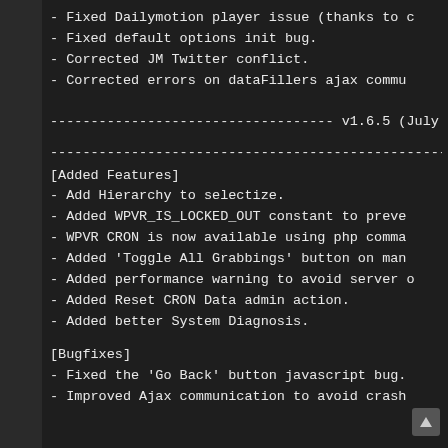- Fixed Dailymotion player issue (thanks to c...
- Fixed default options init bug.
- Corrected JM Twitter conflict.
- Corrected errors on dataFillers ajax commu...
----------------------------------- v1.6.5 (July...
----------------------------------------------------
[Added Features]
- Add Hierarchy to selectize.
- Added WPVR_IS_LOCKED_OUT constant to preve...
- WPVR CRON is now available using php comma...
- Added 'Toggle All Grabbings' button on man...
- Added performance warning to avoid server ...
- Added Reset CRON Data admin action.
- Added better System Diagnosis.
[Bugfixes]
- Fixed the 'Go Back' button javascript bug.
- Improved Ajax communication to avoid crash...